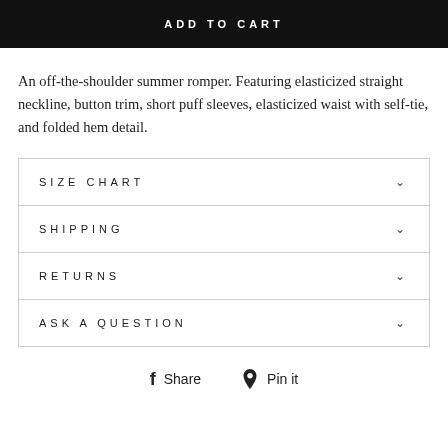ADD TO CART
An off-the-shoulder summer romper. Featuring elasticized straight neckline, button trim, short puff sleeves, elasticized waist with self-tie, and folded hem detail.
SIZE CHART
SHIPPING
RETURNS
ASK A QUESTION
Share   Pin it